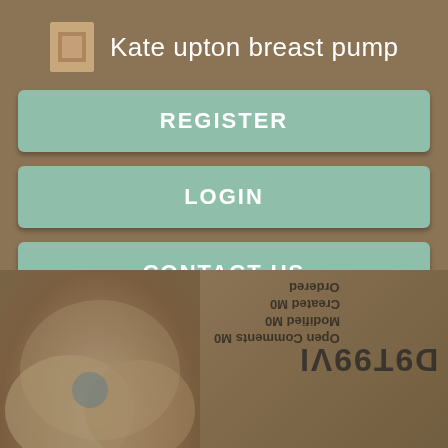Kate upton breast pump
REGISTER
LOGIN
CONTACT US
[Figure (photo): Screenshot of a mobile app interface showing a header with title 'Kate upton breast pump', three navigation buttons (REGISTER, LOGIN, CONTACT US), and a blurred photo below with reversed/mirrored text overlay]